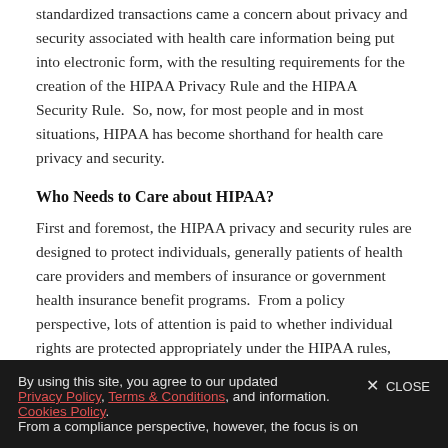standardized transactions came a concern about privacy and security associated with health care information being put into electronic form, with the resulting requirements for the creation of the HIPAA Privacy Rule and the HIPAA Security Rule.  So, now, for most people and in most situations, HIPAA has become shorthand for health care privacy and security.
Who Needs to Care about HIPAA?
First and foremost, the HIPAA privacy and security rules are designed to protect individuals, generally patients of health care providers and members of insurance or government health insurance benefit programs.  From a policy perspective, lots of attention is paid to whether individual rights are protected appropriately under the HIPAA rules, balancing privacy interests with the overall operation of the health care system, and the use of protected health information. From a compliance perspective, however, the focus is on
By using this site, you agree to our updated Privacy Policy, Terms & Conditions, and Cookies Policy.